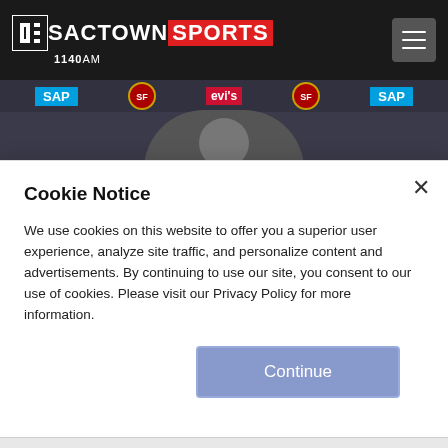[Figure (logo): Sactown Sports 1140AM logo on dark header bar with hamburger menu icon]
[Figure (photo): Photo of a person at a San Francisco 49ers press conference with SAP and Levi's sponsor logos in the background]
Cookie Notice
We use cookies on this website to offer you a superior user experience, analyze site traffic, and personalize content and advertisements. By continuing to use our site, you consent to our use of cookies. Please visit our Privacy Policy for more information.